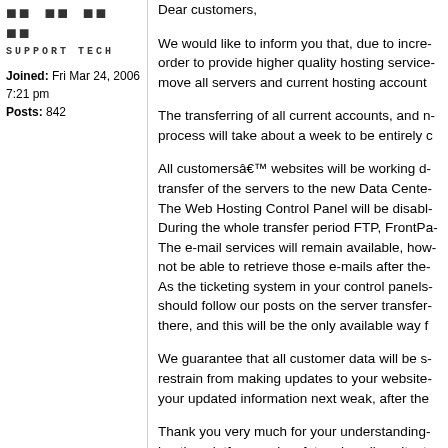[Figure (other): Forum user avatar area with decorative dots pattern and 'SUPPORT TECH' label in monospace font]
Joined: Fri Mar 24, 2006 7:21 pm
Posts: 842
Dear customers,

We would like to inform you that, due to incre... order to provide higher quality hosting service... move all servers and current hosting account...

The transferring of all current accounts, and n... process will take about a week to be entirely c...

All customersâ€™ websites will be working d... transfer of the servers to the new Data Cente... The Web Hosting Control Panel will be disabl... During the whole transfer period FTP, FrontPa... The e-mail services will remain available, how... not be able to retrieve those e-mails after the... As the ticketing system in your control panels... should follow our posts on the server transfer... there, and this will be the only available way f...

We guarantee that all customer data will be s... restrain from making updates to your website... your updated information next weak, after the...

Thank you very much for your understanding... hosting platform and no future hassling situat...